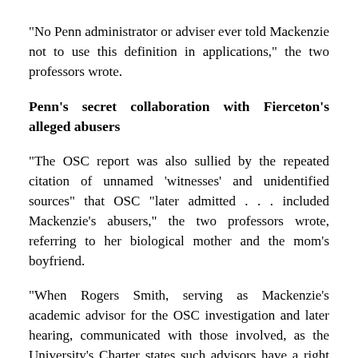"No Penn administrator or adviser ever told Mackenzie not to use this definition in applications," the two professors wrote.
Penn's secret collaboration with Fierceton's alleged abusers
"The OSC report was also sullied by the repeated citation of unnamed 'witnesses' and unidentified sources" that OSC "later admitted . . . included Mackenzie's abusers," the two professors wrote, referring to her biological mother and the mom's boyfriend.
"When Rogers Smith, serving as Mackenzie's academic advisor for the OSC investigation and later hearing, communicated with those involved, as the University's Charter states such advisors have a right to do, the OSC Hearing Officer banned him from obtaining any clarifications that might assist Mackenzie," the two